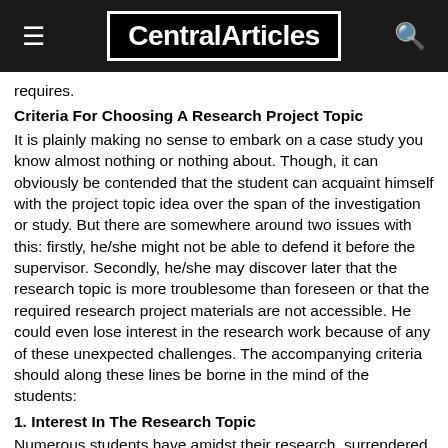CentralArticles
requires.
Criteria For Choosing A Research Project Topic
It is plainly making no sense to embark on a case study you know almost nothing or nothing about. Though, it can obviously be contended that the student can acquaint himself with the project topic idea over the span of the investigation or study. But there are somewhere around two issues with this: firstly, he/she might not be able to defend it before the supervisor. Secondly, he/she may discover later that the research topic is more troublesome than foreseen or that the required research project materials are not accessible. He could even lose interest in the research work because of any of these unexpected challenges. The accompanying criteria should along these lines be borne in the mind of the students:
1. Interest In The Research Topic
Numerous students have amidst their research, surrendered, or abandon their research project topic for another one since they didn't have enough managing interest for it, in the first instance. For a few, they may have chosen it since it was